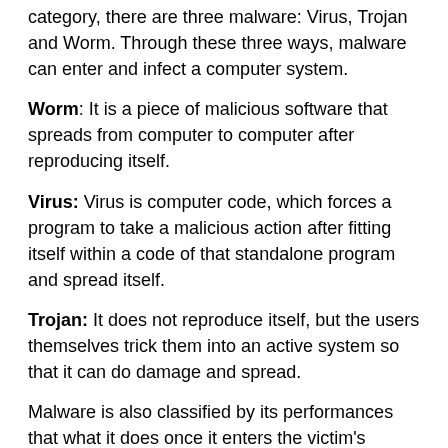category, there are three malware: Virus, Trojan and Worm. Through these three ways, malware can enter and infect a computer system.
Worm: It is a piece of malicious software that spreads from computer to computer after reproducing itself.
Virus: Virus is computer code, which forces a program to take a malicious action after fitting itself within a code of that standalone program and spread itself.
Trojan: It does not reproduce itself, but the users themselves trick them into an active system so that it can do damage and spread.
Malware is also classified by its performances that what it does once it enters the victim's computer. Malware can be added and spread through different techniques.
Spyware: It is a form of malware that defines how a...